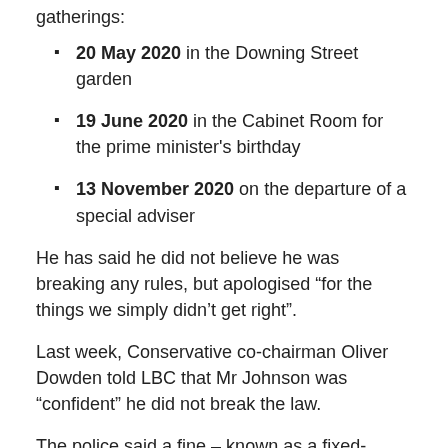gatherings:
20 May 2020 in the Downing Street garden
19 June 2020 in the Cabinet Room for the prime minister's birthday
13 November 2020 on the departure of a special adviser
He has said he did not believe he was breaking any rules, but apologised “for the things we simply didn’t get right”.
Last week, Conservative co-chairman Oliver Dowden told LBC that Mr Johnson was “confident” he did not break the law.
The police said a fine – known as a fixed-penalty notice – would be issued to anyone found to have breached Covid regulations.